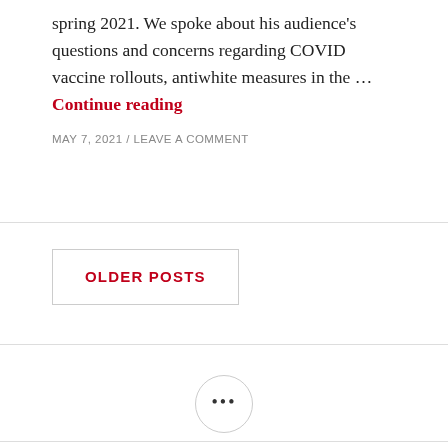spring 2021. We spoke about his audience's questions and concerns regarding COVID vaccine rollouts, antiwhite measures in the … Continue reading
MAY 7, 2021 / LEAVE A COMMENT
OLDER POSTS
[Figure (other): A circular button with three dots (ellipsis) inside, indicating a widget or UI toggle element]